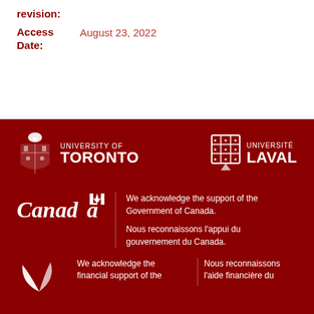revision:
Access Date: August 23, 2022
[Figure (logo): University of Toronto crest and wordmark in white on dark red background]
[Figure (logo): Université Laval crest and wordmark in white on dark red background]
[Figure (logo): Canada wordmark in white on dark red background]
We acknowledge the support of the Government of Canada.
Nous reconnaissons l'appui du gouvernement du Canada.
[Figure (logo): SSHRC/CRSH abstract logo in white on dark red background]
We acknowledge the financial support of the
Nous reconnaissons l'aide financière du